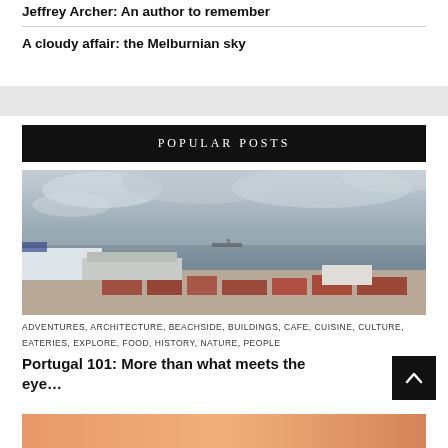Jeffrey Archer: An author to remember
A cloudy affair: the Melburnian sky
POPULAR POSTS
[Figure (photo): Harbour/port city view with a cruise ship, waterfront buildings, and cloudy sky over a bay]
ADVENTURES, ARCHITECTURE, BEACHSIDE, BUILDINGS, CAFE, CUISINE, CULTURE, EATERIES, EXPLORE, FOOD, HISTORY, NATURE, PEOPLE
Portugal 101: More than what meets the eye…
[Figure (photo): Partial view of a second post image with warm orange/sunset tones]